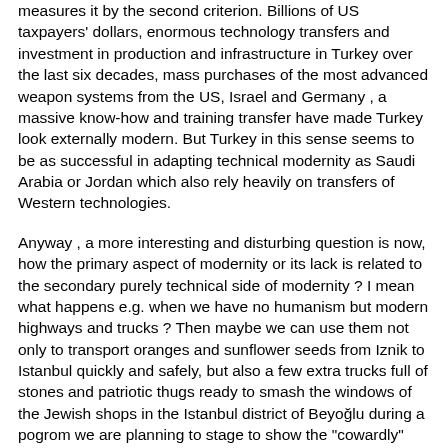measures it by the second criterion. Billions of US taxpayers' dollars, enormous technology transfers and investment in production and infrastructure in Turkey over the last six decades, mass purchases of the most advanced weapon systems from the US, Israel and Germany , a massive know-how and training transfer have made Turkey look externally modern. But Turkey in this sense seems to be as successful in adapting technical modernity as Saudi Arabia or Jordan which also rely heavily on transfers of Western technologies.
Anyway , a more interesting and disturbing question is now, how the primary aspect of modernity or its lack is related to the secondary purely technical side of modernity ? I mean what happens e.g. when we have no humanism but modern highways and trucks ? Then maybe we can use them not only to transport oranges and sunflower seeds from Iznik to Istanbul quickly and safely, but also a few extra trucks full of stones and patriotic thugs ready to smash the windows of the Jewish shops in the Istanbul district of Beyoğlu during a pogrom we are planning to stage to show the "cowardly" Jew who is the boss in the house? When we have no enlightenment worth the name and yet boast of being the second-biggest NATO army equipped with the most advanced arms available on the world arms markets, then maybe we will gladly use our napalm purchased abroad to